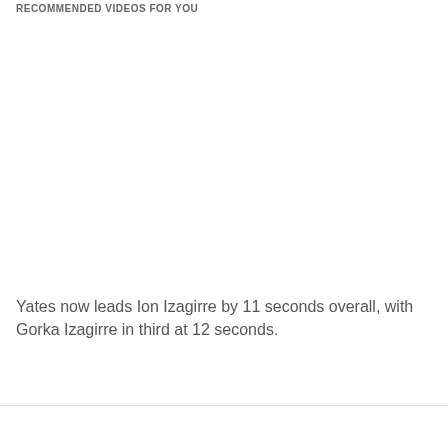RECOMMENDED VIDEOS FOR YOU
Yates now leads Ion Izagirre by 11 seconds overall, with Gorka Izagirre in third at 12 seconds.